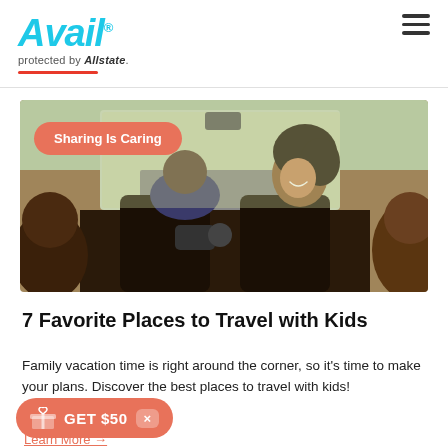Avail protected by Allstate
[Figure (photo): People inside a vehicle on a road trip, woman in passenger seat turning around smiling at backseat passengers, outdoor scenery visible through windshield. Badge overlay reads 'Sharing is Caring'.]
7 Favorite Places to Travel with Kids
Family vacation time is right around the corner, so it’s time to make your plans. Discover the best places to travel with kids!
GET $50
Learn More →